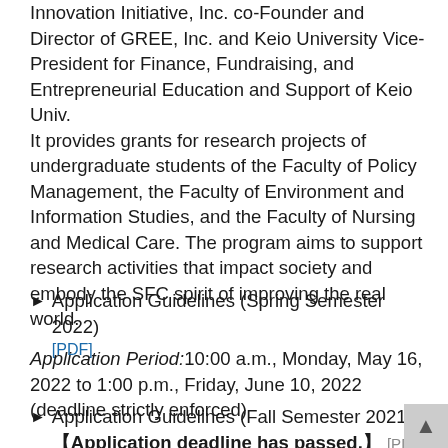Innovation Initiative, Inc. co-Founder and Director of GREE, Inc. and Keio University Vice-President for Finance, Fundraising, and Entrepreneurial Education and Support of Keio Univ.
It provides grants for research projects of undergraduate students of the Faculty of Policy Management, the Faculty of Environment and Information Studies, and the Faculty of Nursing and Medical Care. The program aims to support research activities that impact society and embody the SFC spirit of improving the real world.
Application Guidelines (Spring Semester 2022)
[PDF]
Application Period:10:00 a.m., Monday, May 16, 2022 to 1:00 p.m., Friday, June 10, 2022 (deadline strictly enforced)
Application Guidelines (Fall Semester 2021)
【Application deadline has passed.】 [PDF]